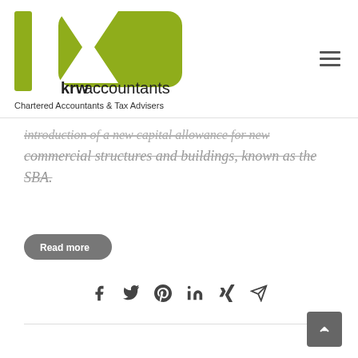[Figure (logo): KRW Accountants logo — olive green K shape with text 'krwaccountants' and tagline 'Chartered Accountants & Tax Advisers']
introduction of a new capital allowance for new commercial structures and buildings, known as the SBA.
[Figure (other): Grey rounded 'Read more' button]
[Figure (other): Social sharing icons row: Facebook, Twitter, Pinterest, LinkedIn, Xing, Email/send]
[Figure (other): Scroll-to-top grey button with upward chevron arrow, bottom right]